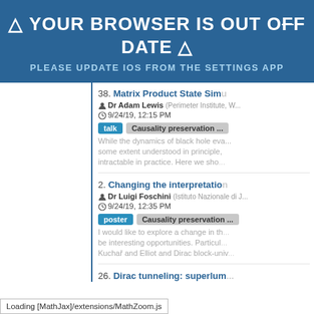[Figure (screenshot): Browser out of date warning banner with blue background, showing warning triangle icons and bold white text]
⚠ YOUR BROWSER IS OUT OF DATE ⚠
PLEASE UPDATE IOS FROM THE SETTINGS APP
38. Matrix Product State Sim... Dr Adam Lewis (Perimeter Institute, W... 9/24/19, 12:15 PM talk Causality preservation ... While the dynamics of black hole eva... some extent understood in principle,... intractable in practice. Here we sho...
2. Changing the interpretation... Dr Luigi Foschini (Istituto Nazionale di... 9/24/19, 12:35 PM poster Causality preservation ... I would like to explore a change in th... be interesting opportunities. Particul... Kucha▒ and Elliot and Dirac block-univ...
26. Dirac tunneling: superlum...
Loading [MathJax]/extensions/MathZoom.js